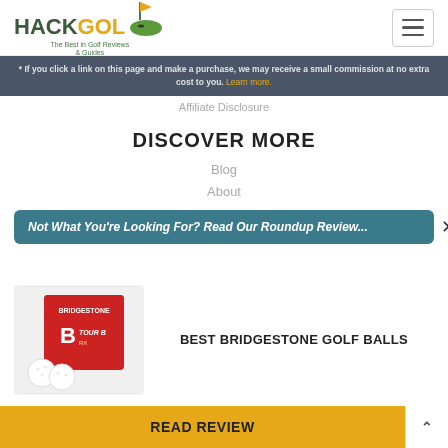HACKGOLF - The Best in Golf Reviews & Guides
* If you click a link on this page and make a purchase, we may receive a small commission at no extra cost to you. Learn more.
Affiliate Disclosure
DISCOVER MORE
Blog
About
Not What You're Looking For? Read Our Roundup Review...
[Figure (photo): Bridgestone golf balls product image showing red box with Tour B RX balls and white golf balls]
BEST BRIDGESTONE GOLF BALLS
READ REVIEW